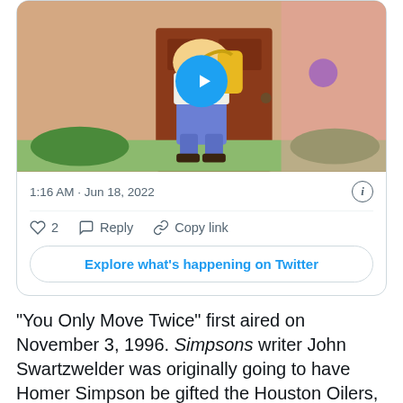[Figure (screenshot): Twitter/X embedded tweet card showing a video thumbnail of an animated Simpsons-style cartoon character at a doorway. Below the video thumbnail are: timestamp '1:16 AM · Jun 18, 2022', an info icon, a divider, action icons for like (2), reply, and copy link, and a button 'Explore what's happening on Twitter'.]
"You Only Move Twice" first aired on November 3, 1996. Simpsons writer John Swartzwelder was originally going to have Homer Simpson be gifted the Houston Oilers, the joke being that Hank Scorpio could only swing getting Homer the lesser of the two Texas teams. But with the Oilers